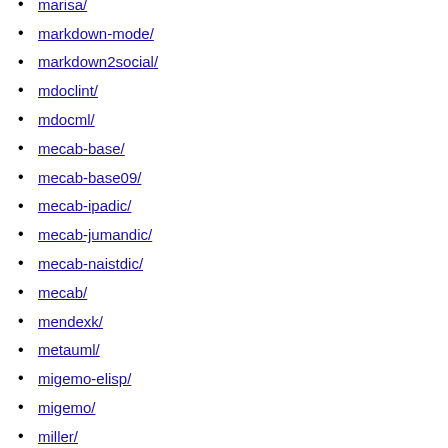marisa/
markdown-mode/
markdown2social/
mdoclint/
mdocml/
mecab-base/
mecab-base09/
mecab-ipadic/
mecab-jumandic/
mecab-naistdic/
mecab/
mendexk/
metauml/
migemo-elisp/
migemo/
miller/
mminstance/
molybdenum/
mswordview/
multimarkdown/
mxml/
mythes/
namazu/
namazu1/
namazu2/